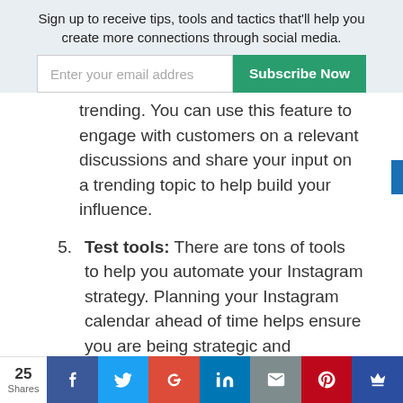Sign up to receive tips, tools and tactics that'll help you create more connections through social media.
Enter your email addres  Subscribe Now
trending. You can use this feature to engage with customers on a relevant discussions and share your input on a trending topic to help build your influence.
5. Test tools: There are tons of tools to help you automate your Instagram strategy. Planning your Instagram calendar ahead of time helps ensure you are being strategic and thoughtful with your imagery. One tool you can
25 Shares  [Facebook] [Twitter] [Google+] [LinkedIn] [Email] [Pinterest] [Other]